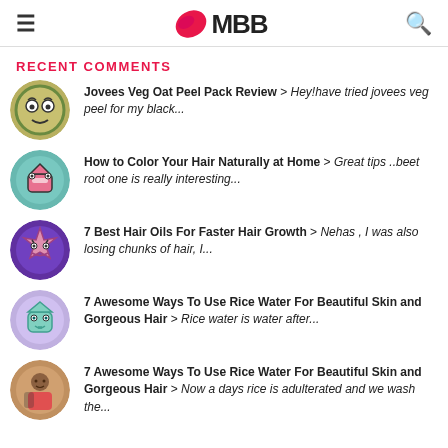IMBB
RECENT COMMENTS
Jovees Veg Oat Peel Pack Review > Hey!have tried jovees veg peel for my black...
How to Color Your Hair Naturally at Home > Great tips ..beet root one is really interesting...
7 Best Hair Oils For Faster Hair Growth > Nehas , I was also losing chunks of hair, I...
7 Awesome Ways To Use Rice Water For Beautiful Skin and Gorgeous Hair > Rice water is water after...
7 Awesome Ways To Use Rice Water For Beautiful Skin and Gorgeous Hair > Now a days rice is adulterated and we wash the...